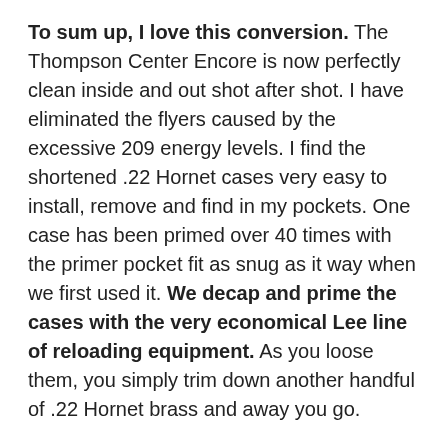To sum up, I love this conversion. The Thompson Center Encore is now perfectly clean inside and out shot after shot. I have eliminated the flyers caused by the excessive 209 energy levels. I find the shortened .22 Hornet cases very easy to install, remove and find in my pockets. One case has been primed over 40 times with the primer pocket fit as snug as it way when we first used it. We decap and prime the cases with the very economical Lee line of reloading equipment. As you loose them, you simply trim down another handful of .22 Hornet brass and away you go.
The .22 Hornet, possibly one of the most enduring cartridges ever designed, lends itself for yet another purpose.